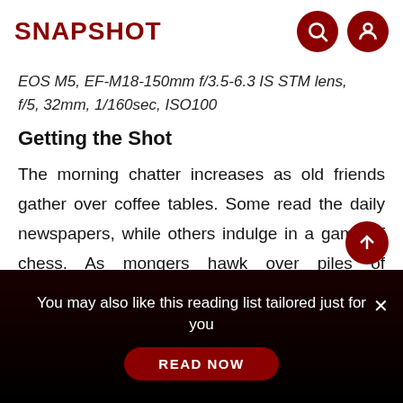SNAPSHOT
EOS M5, EF-M18-150mm f/3.5-6.3 IS STM lens, f/5, 32mm, 1/160sec, ISO100
Getting the Shot
The morning chatter increases as old friends gather over coffee tables. Some read the daily newspapers, while others indulge in a game of chess. As mongers hawk over piles of vegetables and stray cats wander curiously along the sidewalks, Alvin quietly
You may also like this reading list tailored just for you
READ NOW